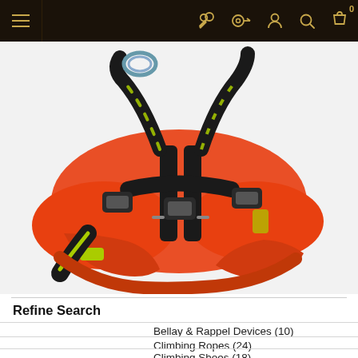Navigation bar with hamburger menu and icons (wrench, key, person, search, cart with badge 0)
[Figure (photo): Orange and black climbing/rescue harness with yellow-green accent straps and buckles, photographed on white background, cropped view showing the seat and waist portion of the harness]
Refine Search
Bellay & Rappel Devices (10)
Climbing Ropes (24)
Climbing Shoes (18)
... (10)